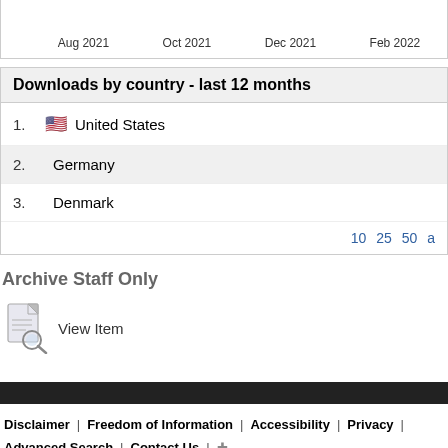[Figure (continuous-plot): Partial time-series chart showing x-axis labels: Aug 2021, Oct 2021, Dec 2021, Feb 2022]
Downloads by country - last 12 months
1. United States
2. Germany
3. Denmark
10 25 50 a
Archive Staff Only
[Figure (illustration): View Item icon - document with magnifying glass]
View Item
Disclaimer | Freedom of Information | Accessibility | Privacy | Advanced Search | Contact Us | + University College London, Gower Street, London, WC1E 6BT Tel: +44 (0) 20 7679 2000